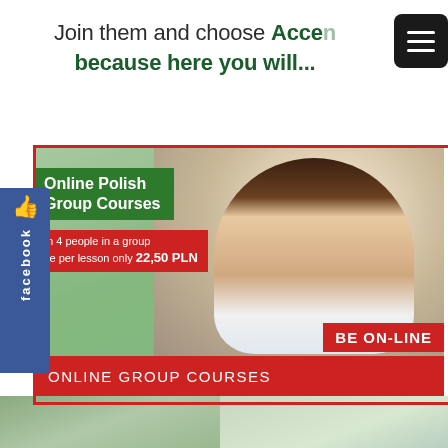Join them and choose Acce... because here you will...
[Figure (screenshot): Online Polish Group Courses promotional banner with a young woman using a tablet, red banner saying BE ON-LINE, Facebook like sidebar, and ONLINE GROUP COURSES footer bar]
[Figure (photo): Bottom strip showing two partial photos of people outdoors]